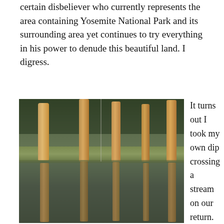certain disbeliever who currently represents the area containing Yosemite National Park and its surrounding area yet continues to try everything in his power to denude this beautiful land. I digress.
[Figure (photo): A photograph of tall bare-trunked trees reflected in a still lake or pond, with evergreen trees in the background. The image appears to show two side-by-side panels of the same scene.]
It turns out I took my own dip crossing a stream on our return.